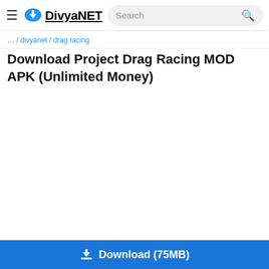DivyaNET — Search bar
… / Drag Racing
Download Project Drag Racing MOD APK (Unlimited Money)
[Figure (other): White empty content area (image loading placeholder)]
Download (75MB)